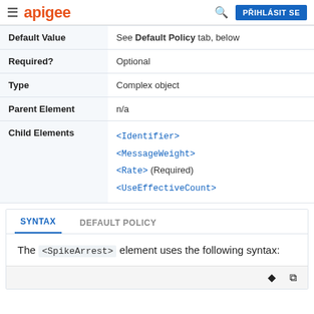apigee  PŘIHLÁSIT SE
| Property | Value |
| --- | --- |
| Default Value | See Default Policy tab, below |
| Required? | Optional |
| Type | Complex object |
| Parent Element | n/a |
| Child Elements | <Identifier>
<MessageWeight>
<Rate> (Required)
<UseEffectiveCount> |
SYNTAX  DEFAULT POLICY
The <SpikeArrest> element uses the following syntax: